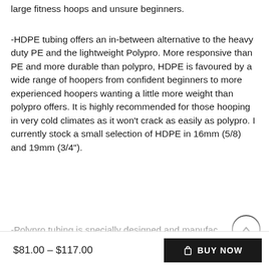large fitness hoops and unsure beginners.
-HDPE tubing offers an in-between alternative to the heavy duty PE and the lightweight Polypro. More responsive than PE and more durable than polypro, HDPE is favoured by a wide range of hoopers from confident beginners to more experienced hoopers wanting a little more weight than polypro offers. It is highly recommended for those hooping in very cold climates as it won't crack as easily as polypro. I currently stock a small selection of HDPE in 16mm (5/8) and 19mm (3/4").
-Polypro tubing is specially designed and manufac for hula hoops and is more lightweight and respon than PE. Polypro is favoured by more experienced
$81.00 – $117.00
BUY NOW